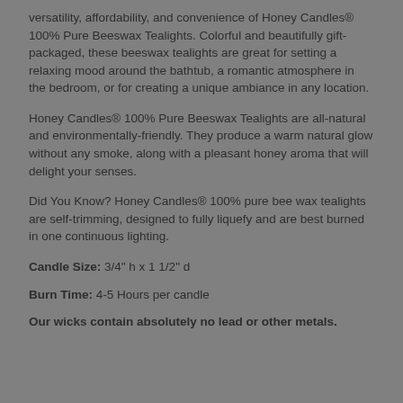versatility, affordability, and convenience of Honey Candles® 100% Pure Beeswax Tealights. Colorful and beautifully gift-packaged, these beeswax tealights are great for setting a relaxing mood around the bathtub, a romantic atmosphere in the bedroom, or for creating a unique ambiance in any location.
Honey Candles® 100% Pure Beeswax Tealights are all-natural and environmentally-friendly. They produce a warm natural glow without any smoke, along with a pleasant honey aroma that will delight your senses.
Did You Know? Honey Candles® 100% pure bee wax tealights are self-trimming, designed to fully liquefy and are best burned in one continuous lighting.
Candle Size: 3/4" h x 1 1/2" d
Burn Time: 4-5 Hours per candle
Our wicks contain absolutely no lead or other metals.